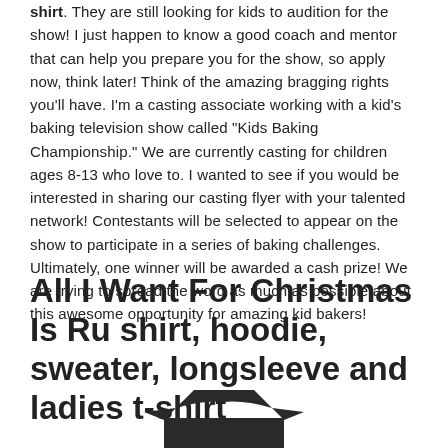shirt. They are still looking for kids to audition for the show! I just happen to know a good coach and mentor that can help you prepare you for the show, so apply now, think later! Think of the amazing bragging rights you'll have. I'm a casting associate working with a kid's baking television show called "Kids Baking Championship." We are currently casting for children ages 8-13 who love to. I wanted to see if you would be interested in sharing our casting flyer with your talented network! Contestants will be selected to appear on the show to participate in a series of baking challenges. Ultimately, one winner will be awarded a cash prize! We are trying to spread the word as much as possible about this awesome opportunity for amazing kid bakers!
All I Want For Christmas Is Ru shirt, hoodie, sweater, longsleeve and ladies t-shirt
[Figure (photo): A dark/black t-shirt shown from the front, partially visible at the bottom of the page]